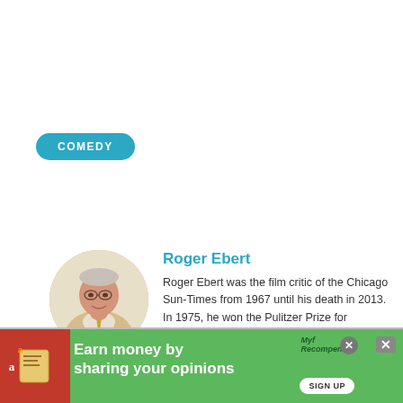COMEDY
[Figure (photo): Circular portrait photo of Roger Ebert, an older man with glasses, wearing a tan jacket and yellow tie, looking upward]
Roger Ebert
Roger Ebert was the film critic of the Chicago Sun-Times from 1967 until his death in 2013. In 1975, he won the Pulitzer Prize for distinguished criticism.
[Figure (infographic): Green advertisement banner: 'Earn money by sharing your opinions' with Amazon logo, Myrecompensar logo, and a SIGN UP button]